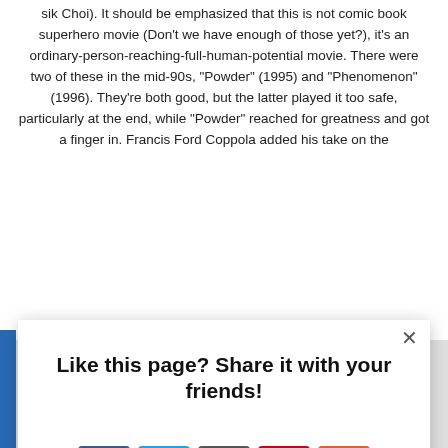sik Choi). It should be emphasized that this is not comic book superhero movie (Don't we have enough of those yet?), it's an ordinary-person-reaching-full-human-potential movie. There were two of these in the mid-90s, "Powder" (1995) and "Phenomenon" (1996). They're both good, but the latter played it too safe, particularly at the end, while "Powder" reached for greatness and got a finger in. Francis Ford Coppola added his take on the
[Figure (screenshot): Social sharing modal overlay with title 'Like this page? Share it with your friends!' and five social media icon buttons: Facebook, Twitter, Email, Pinterest, and a plus/more button. AddThis branding in bottom right corner.]